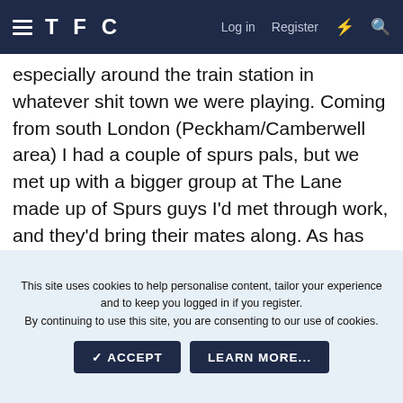TFC  Log in  Register
especially around the train station in whatever shit town we were playing. Coming from south London (Peckham/Camberwell area) I had a couple of spurs pals, but we met up with a bigger group at The Lane made up of Spurs guys I'd met through work, and they'd bring their mates along. As has been mentioned, getting in was so simple.. turn up, hand over your money at the turnstile an in you went. For bigger, more prestigious matches you simply turned up earlier to ensure a place on the terraces. I still go occasionally when my sister
This site uses cookies to help personalise content, tailor your experience and to keep you logged in if you register.
By continuing to use this site, you are consenting to our use of cookies.